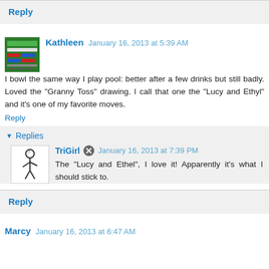Reply
Kathleen  January 16, 2013 at 5:39 AM
I bowl the same way I play pool: better after a few drinks but still badly. Loved the "Granny Toss" drawing. I call that one the "Lucy and Ethyl" and it's one of my favorite moves.
Reply
Replies
TriGirl  January 16, 2013 at 7:39 PM
The "Lucy and Ethel", I love it! Apparently it's what I should stick to.
Reply
Marcy  January 16, 2013 at 6:47 AM